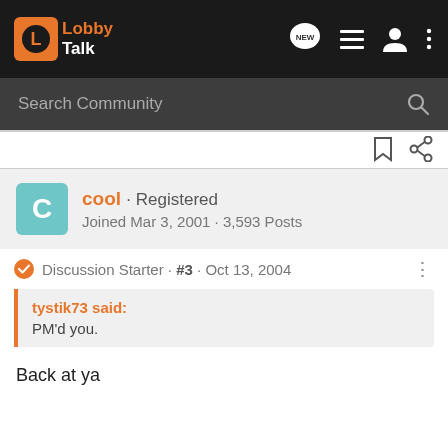LobbyTalk · Search Community
cool · Registered
Joined Mar 3, 2001 · 3,593 Posts
Discussion Starter · #3 · Oct 13, 2004
tystik73 said:
PM'd you.
Back at ya